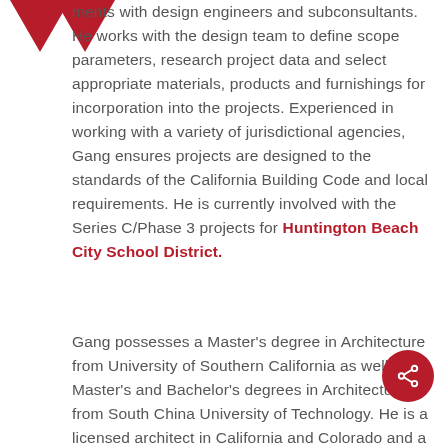[Figure (logo): Red downward-pointing triangles logo (two triangles forming a W or angular shape)]
ments with design engineers and subconsultants. He works with the design team to define scope parameters, research project data and select appropriate materials, products and furnishings for incorporation into the projects. Experienced in working with a variety of jurisdictional agencies, Gang ensures projects are designed to the standards of the California Building Code and local requirements. He is currently involved with the Series C/Phase 3 projects for Huntington Beach City School District.
Gang possesses a Master's degree in Architecture from University of Southern California as well as Master's and Bachelor's degrees in Architecture from South China University of Technology. He is a licensed architect in California and Colorado and a LEED Accredited Professional (LEED AP) with the U.S. Green
[Figure (other): Red circular share button with share icon]